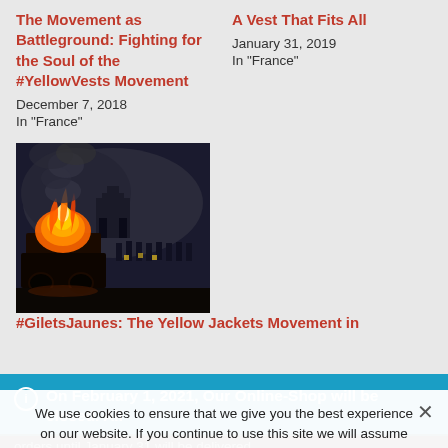The Movement as Battleground: Fighting for the Soul of the #YellowVests Movement
December 7, 2018
In "France"
A Vest That Fits All
January 31, 2019
In "France"
[Figure (photo): Protest scene with fire and smoke in foreground, riot police in background, Arc de Triomphe visible in distance at night. Yellow Vests (Gilets Jaunes) protest in Paris.]
#GiletsJaunes: The Yellow Jackets Movement in
On February 1, 2021, Our Online-Shop will be closed. All orders until January 31 will be delivered
Dismiss
We use cookies to ensure that we give you the best experience on our website. If you continue to use this site we will assume that you are happy with it.